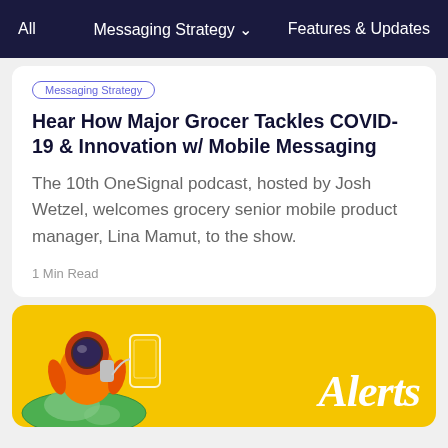All   Messaging Strategy ∨   Features & Updates
Messaging Strategy
Hear How Major Grocer Tackles COVID-19 & Innovation w/ Mobile Messaging
The 10th OneSignal podcast, hosted by Josh Wetzel, welcomes grocery senior mobile product manager, Lina Mamut, to the show.
1 Min Read
[Figure (illustration): Yellow card with astronaut on globe next to a phone graphic, with 'Alerts' text in italic white font]